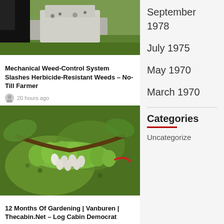[Figure (photo): Agricultural mechanical weed-control machine on grass field]
Mechanical Weed-Control System Slashes Herbicide-Resistant Weeds – No-Till Farmer
20 hours ago
September 1978
July 1975
May 1970
March 1970
[Figure (photo): Close-up of a caterpillar with white parasitic wasp cocoons on green leaves]
12 Months Of Gardening | Vanburen | Thecabin.Net – Log Cabin Democrat
20 hours ago
Categories
Uncategorized